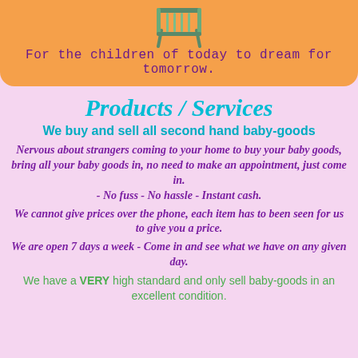[Figure (illustration): Orange banner with a baby crib/bed illustration at the top]
For the children of today to dream for tomorrow.
Products / Services
We buy and sell all second hand baby-goods
Nervous about strangers coming to your home to buy your baby goods, bring all your baby goods in, no need to make an appointment, just come in. - No fuss - No hassle - Instant cash.
We cannot give prices over the phone, each item has to been seen for us to give you a price.
We are open 7 days a week - Come in and see what we have on any given day.
We have a VERY high standard and only sell baby-goods in an excellent condition.